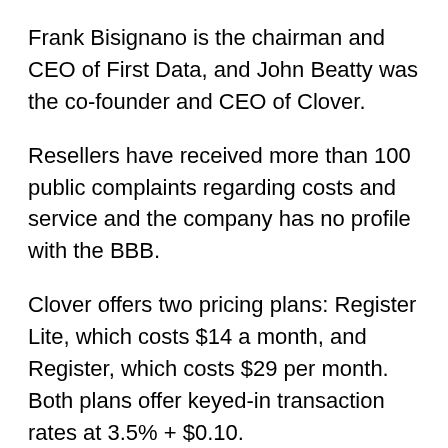Frank Bisignano is the chairman and CEO of First Data, and John Beatty was the co-founder and CEO of Clover.
Resellers have received more than 100 public complaints regarding costs and service and the company has no profile with the BBB.
Clover offers two pricing plans: Register Lite, which costs $14 a month, and Register, which costs $29 per month. Both plans offer keyed-in transaction rates at 3.5% + $0.10.
Clover hardware can range from free to more than $99 per month, and the cost of the Clover app store is determined by the reseller.